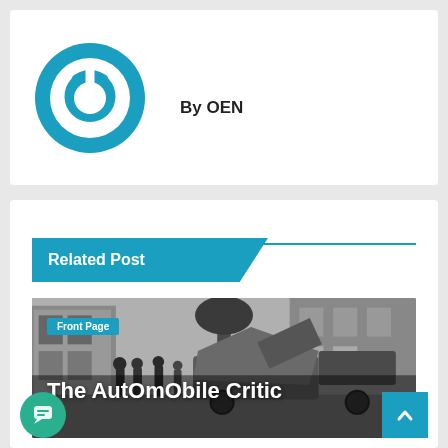[Figure (logo): Blue circular power button logo (OEN logo)]
By OEN
Related Post
[Figure (photo): Black and white historical photograph of an early automobile crash against a tree on a city street, with several men standing nearby looking at the wreckage]
Front Page
The AutOmObile Critic